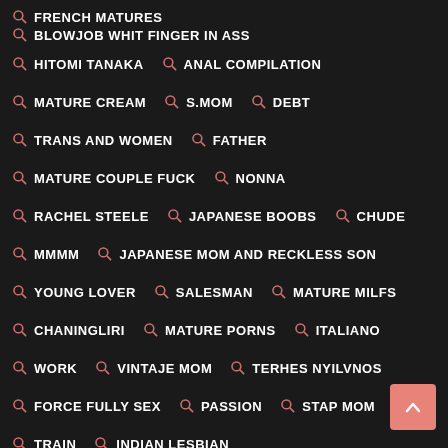FRENCH MATURES
BLOWJOB WHIT FINGER IN ASS
HITOMI TANAKA
ANAL COMPILATION
MATURE CREAM
S.MOM
DEBT
TRANS AND WOMEN
FATHER
MATURE COUPLE FUCK
NONNA
RACHEL STEELE
JAPANESE BOOBS
CHUDE
MMMM
JAPANESE MOM AND RECKLESS SON
YOUNG LOVER
SALESMAN
MATURE MILFS
CHANINGLIRI
MATURE PORNS
ITALIANO
WORK
VINTAJE MOM
TERHES NYILVNOS
FORCE FULLY SEX
PASSION
STAP MOM
TRAIN
INDIAN LESBIAN